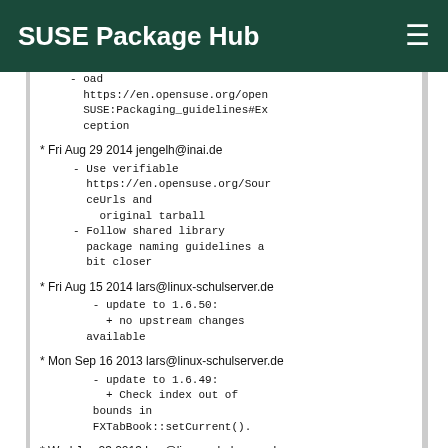SUSE Package Hub
oad
https://en.opensuse.org/openSUSE:Packaging_guidelines#Exception
* Fri Aug 29 2014 jengelh@inai.de
- Use verifiable https://en.opensuse.org/SourceUrls and original tarball
- Follow shared library package naming guidelines a bit closer
* Fri Aug 15 2014 lars@linux-schulserver.de
- update to 1.6.50:
  + no upstream changes available
* Mon Sep 16 2013 lars@linux-schulserver.de
- update to 1.6.49:
  + Check index out of bounds in FXTabBook::setCurrent().
* Wed Jan 23 2013 lars@linux-schulserver.de
- update to 1.6.47:
  + Prototype of wndproc()